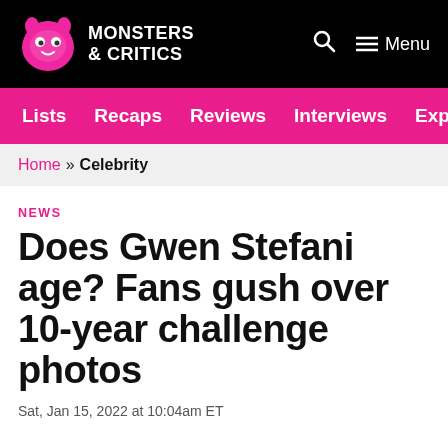Monsters & Critics — Menu
Lists
Recaps
Reviews
Interviews
Explainers
Home » Celebrity
NEWS
Does Gwen Stefani age? Fans gush over 10-year challenge photos
Sat, Jan 15, 2022 at 10:04am ET